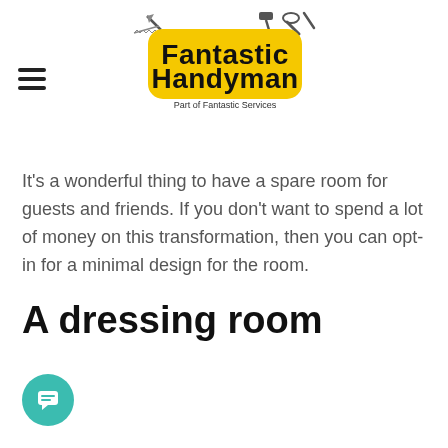Fantastic Handyman – Part of Fantastic Services
It's a wonderful thing to have a spare room for guests and friends. If you don't want to spend a lot of money on this transformation, then you can opt-in for a minimal design for the room.
A dressing room